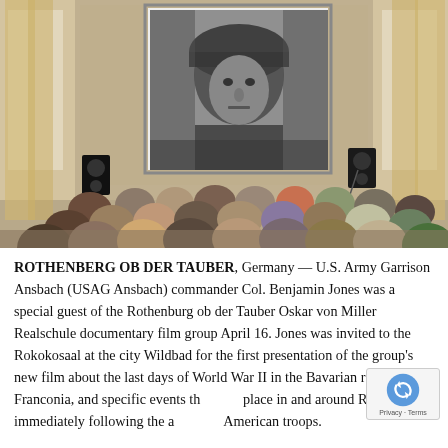[Figure (photo): A large indoor hall with audience members seated with their backs to the camera, watching a projection screen. The screen shows a black-and-white image of a soldier in a helmet. The room has tall windows with sheer curtains on either side and speakers are visible near the front. A microphone stand is to the right near the screen.]
ROTHENBERG OB DER TAUBER, Germany — U.S. Army Garrison Ansbach (USAG Ansbach) commander Col. Benjamin Jones was a special guest of the Rothenburg ob der Tauber Oskar von Miller Realschule documentary film group April 16. Jones was invited to the Rokokosaal at the city Wildbad for the first presentation of the group's new film about the last days of World War II in the Bavarian region of Franconia, and specific events that took place in and around Rothenburg immediately following the arrival of American troops.